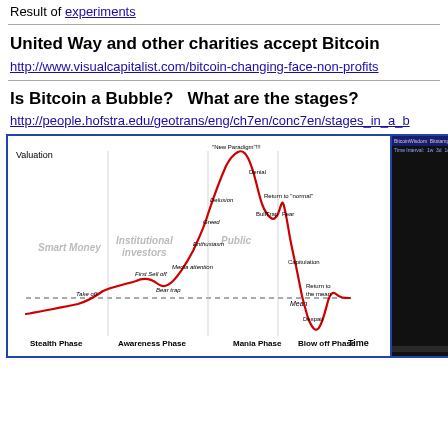Result of experiments
United Way and other charities accept Bitcoin
http://www.visualcapitalist.com/bitcoin-changing-face-non-profits
Is Bitcoin a Bubble?   What are the stages?
http://people.hofstra.edu/geotrans/eng/ch7en/conc7en/stages_in_a_b
[Figure (continuous-plot): Market bubble cycle diagram showing valuation over time with phases: Stealth Phase, Awareness Phase, Mania Phase, Blow off Phase. The curve shows stages: Take off, First Sell off, Bear trap, Media attention, Enthusiasm, Greed, Delusion, New Paradigm (peak), Denial, Bull trap, Fear, Return to normal, Capitulation, Despair, Return to the mean. Labeled participant groups: Smart Money, Institutional investors, Public.]